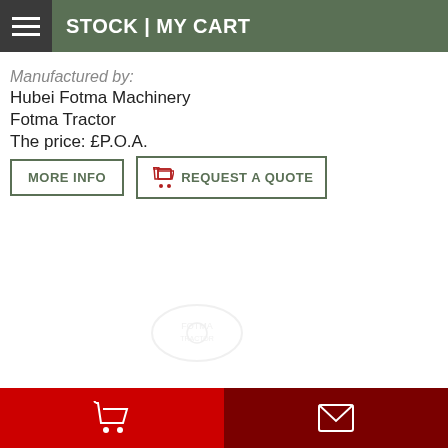STOCK | MY CART
Manufactured by:
Hubei Fotma Machinery
Fotma Tractor
The price: £P.O.A.
MORE INFO
REQUEST A QUOTE